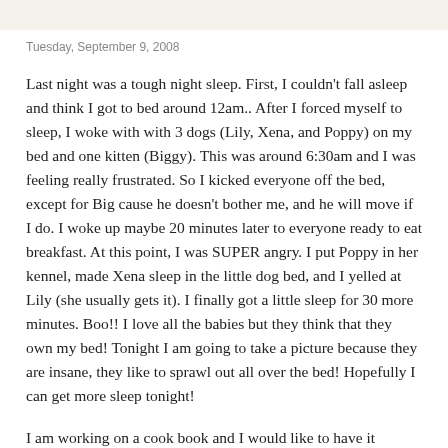Tuesday, September 9, 2008
Last night was a tough night sleep. First, I couldn't fall asleep and think I got to bed around 12am.. After I forced myself to sleep, I woke with with 3 dogs (Lily, Xena, and Poppy) on my bed and one kitten (Biggy). This was around 6:30am and I was feeling really frustrated. So I kicked everyone off the bed, except for Big cause he doesn't bother me, and he will move if I do. I woke up maybe 20 minutes later to everyone ready to eat breakfast. At this point, I was SUPER angry. I put Poppy in her kennel, made Xena sleep in the little dog bed, and I yelled at Lily (she usually gets it). I finally got a little sleep for 30 more minutes. Boo!! I love all the babies but they think that they own my bed! Tonight I am going to take a picture because they are insane, they like to sprawl out all over the bed! Hopefully I can get more sleep tonight!
I am working on a cook book and I would like to have it finished by the end of October. I am pretty excited. There is a website called Tastebook, and I have been trying to update recipes on there. I am not sure if you can see my recipes on that link. But if not